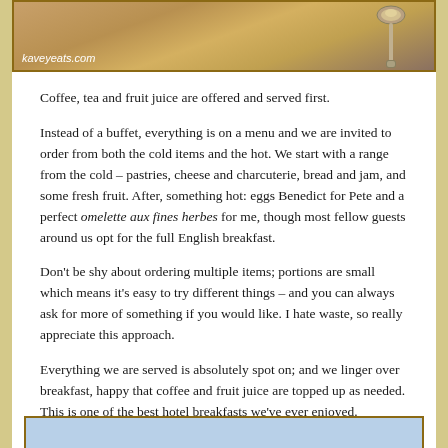[Figure (photo): Close-up photograph of cutlery (spoon) on a table, with watermark 'kaveyeats.com' in bottom left corner]
Coffee, tea and fruit juice are offered and served first.
Instead of a buffet, everything is on a menu and we are invited to order from both the cold items and the hot. We start with a range from the cold – pastries, cheese and charcuterie, bread and jam, and some fresh fruit. After, something hot: eggs Benedict for Pete and a perfect omelette aux fines herbes for me, though most fellow guests around us opt for the full English breakfast.
Don't be shy about ordering multiple items; portions are small which means it's easy to try different things – and you can always ask for more of something if you would like. I hate waste, so really appreciate this approach.
Everything we are served is absolutely spot on; and we linger over breakfast, happy that coffee and fruit juice are topped up as needed. This is one of the best hotel breakfasts we've ever enjoyed.
The £ Sign
[Figure (photo): Partial view of another photograph at the bottom of the page]